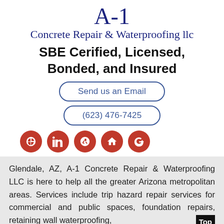A-1 Concrete Repair & Waterproofing llc
SBE Cerified, Licensed, Bonded, and Insured
Send us an Email
(623) 476-7425
[Figure (other): Row of 5 red circular social media icons: peace/Houzz, LinkedIn, Yelp, home/Houzz, Google+]
Glendale, AZ, A-1 Concrete Repair & Waterproofing LLC is here to help all the greater Arizona metropolitan areas. Services include trip hazard repair services for commercial and public spaces, foundation repairs, retaining wall waterproofing,